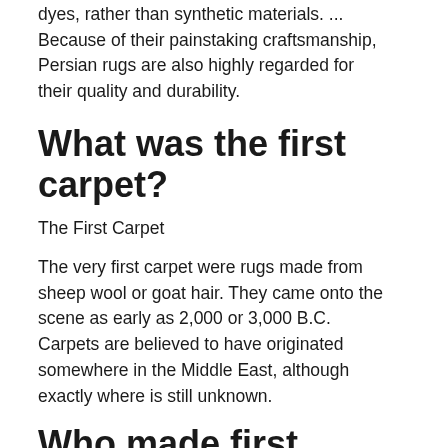dyes, rather than synthetic materials. ... Because of their painstaking craftsmanship, Persian rugs are also highly regarded for their quality and durability.
What was the first carpet?
The First Carpet
The very first carpet were rugs made from sheep wool or goat hair. They came onto the scene as early as 2,000 or 3,000 B.C. Carpets are believed to have originated somewhere in the Middle East, although exactly where is still unknown.
Who made first carpet?